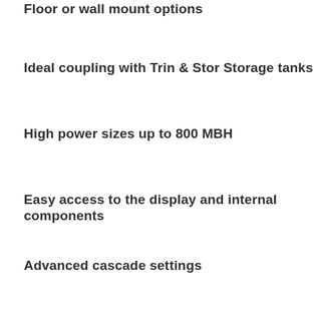Floor or wall mount options
Ideal coupling with Trin & Stor Storage tanks
High power sizes up to 800 MBH
Easy access to the display and internal components
Advanced cascade settings